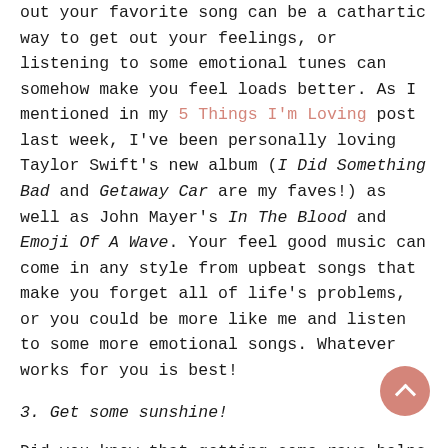out your favorite song can be a cathartic way to get out your feelings, or listening to some emotional tunes can somehow make you feel loads better. As I mentioned in my 5 Things I'm Loving post last week, I've been personally loving Taylor Swift's new album (I Did Something Bad and Getaway Car are my faves!) as well as John Mayer's In The Blood and Emoji Of A Wave. Your feel good music can come in any style from upbeat songs that make you forget all of life's problems, or you could be more like me and listen to some more emotional songs. Whatever works for you is best!
3. Get some sunshine!
Did you know that getting some rays helps all kinds of negative thoughts? It's true! The more vitamin D